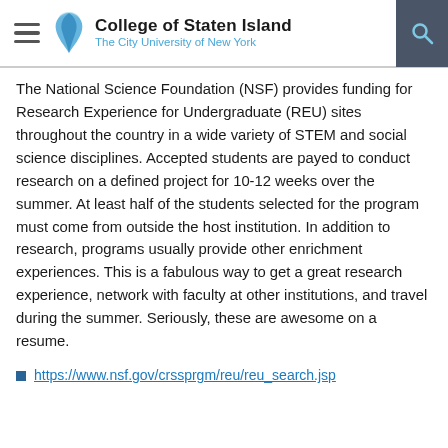College of Staten Island — The City University of New York
The National Science Foundation (NSF) provides funding for Research Experience for Undergraduate (REU) sites throughout the country in a wide variety of STEM and social science disciplines. Accepted students are payed to conduct research on a defined project for 10-12 weeks over the summer. At least half of the students selected for the program must come from outside the host institution. In addition to research, programs usually provide other enrichment experiences. This is a fabulous way to get a great research experience, network with faculty at other institutions, and travel during the summer. Seriously, these are awesome on a resume.
https://www.nsf.gov/crssprgm/reu/reu_search.jsp